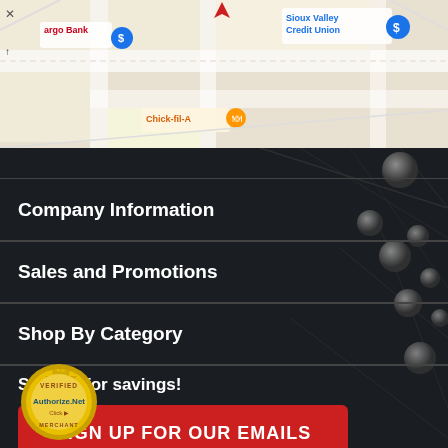[Figure (screenshot): Google Maps partial view showing Sioux Valley Credit Union, Wells Fargo Bank, and Chick-fil-A locations]
Company Information
Sales and Promotions
Shop By Category
Sign up for savings!
SIGN UP FOR OUR EMAILS
[Figure (logo): Authorize.Net Verified Merchant seal/badge]